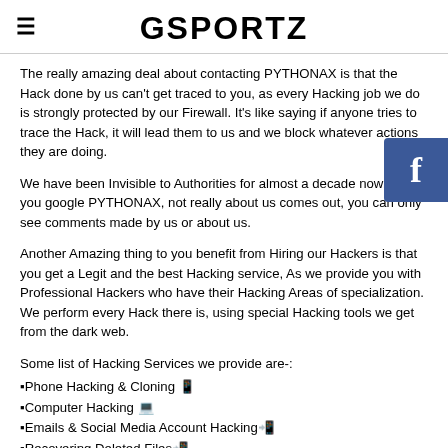GSPORTZ
The really amazing deal about contacting PYTHONAX is that the Hack done by us can't get traced to you, as every Hacking job we do is strongly protected by our Firewall. It's like saying if anyone tries to trace the Hack, it will lead them to us and we block whatever actions they are doing.
We have been Invisible to Authorities for almost a decade now, and if you google PYTHONAX, not really about us comes out, you can only see comments made by us or about us.
Another Amazing thing to you benefit from Hiring our Hackers is that you get a Legit and the best Hacking service, As we provide you with Professional Hackers who have their Hacking Areas of specialization.
We perform every Hack there is, using special Hacking tools we get from the dark web.
Some list of Hacking Services we provide are-:
▪Phone Hacking & Cloning 📱
▪Computer Hacking 💻
▪Emails & Social Media Account Hacking📲
▪Recovering Deleted Files📲